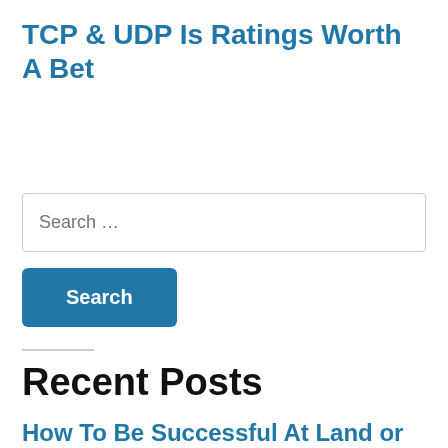TCP & UDP Is Ratings Worth A Bet
Search …
Search
Recent Posts
How To Be Successful At Land or Online Ga…